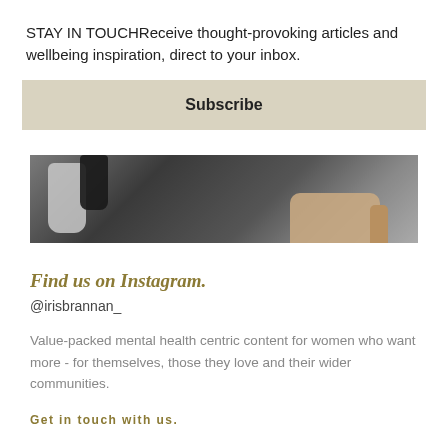STAY IN TOUCHReceive thought-provoking articles and wellbeing inspiration, direct to your inbox.
Subscribe
[Figure (photo): Cropped photograph showing dog paws and a human hand on a dark textured surface]
Find us on Instagram.
@irisbrannan_
Value-packed mental health centric content for women who want more - for themselves, those they love and their wider communities.
Get in touch with us.